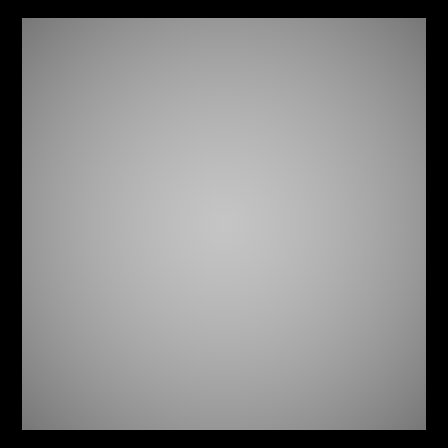[Figure (illustration): A repeated, tiled pattern of silhouetted human figures (appearing to be dancers or people in formal attire) arranged in a grid. The image is black and white/grayscale, with a kaleidoscopic or mirror-reflected arrangement creating a symmetrical, wallpaper-like textile pattern. The figures alternate in orientation creating a decorative repeating motif. The entire composition is framed by a solid black border.]